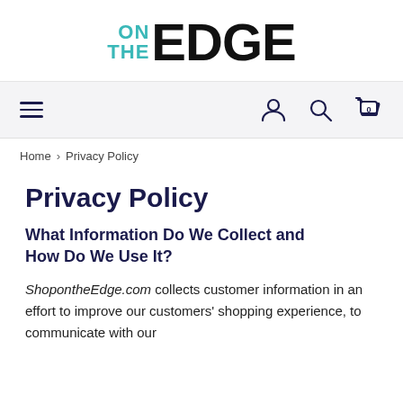ON THE EDGE
Privacy Policy
What Information Do We Collect and How Do We Use It?
ShopontheEdge.com collects customer information in an effort to improve our customers' shopping experience, to communicate with our